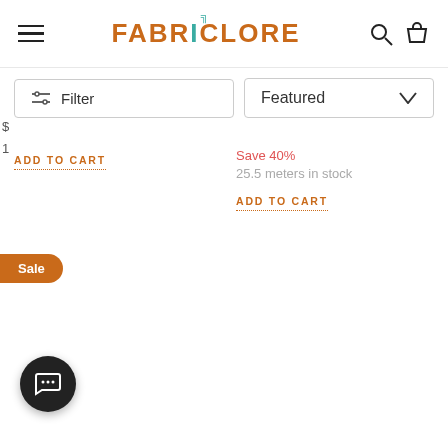FABRICLORE
Filter
Featured
Save 40%
25.5 meters in stock
ADD TO CART
ADD TO CART
Sale